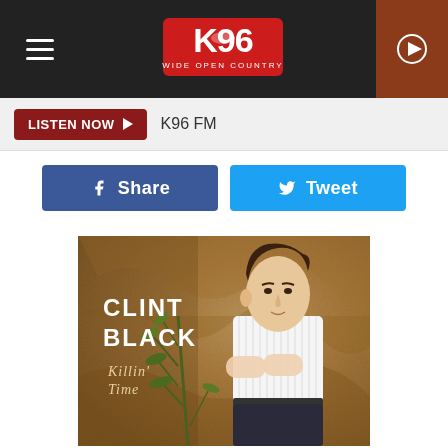[Figure (screenshot): K96 radio station website header with logo, hamburger menu, and play button]
LISTEN NOW  K96 FM
f  Share
Tweet
[Figure (photo): Clint Black 'Killin' Time' album cover — young man in white striped shirt sitting against a tan/brown textured wall with plant, text reads CLINT BLACK Killin' Time]